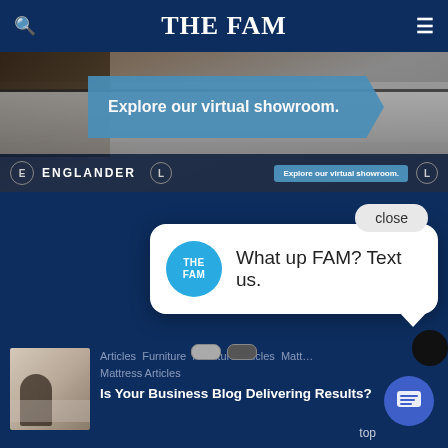THE FAM
[Figure (photo): Englander mattress advertisement banner with 'Explore our virtual showroom.' text in a blue arrow-shaped callout over a mattress/furniture background]
close
[Figure (screenshot): Chat popup widget showing THE FAM logo circle and text 'What up FAM? Text us.']
Articles  Furniture  Furniture Articles  Matt... Mattress Articles
Is Your Business Blog Delivering Results?